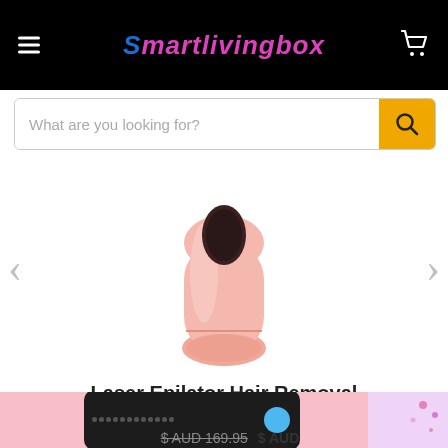Smartlivingbox
What are you looking for?
[Figure (photo): Pink laser epilator hair removal device, rounded body with dark oval aperture on top]
Laser Epilator Hair Removal
[Figure (screenshot): Bottom strip showing product thumbnail card with dark overlay, blue circular button, and partially visible illustration on right]
$ AUD 169.95   $ AUD